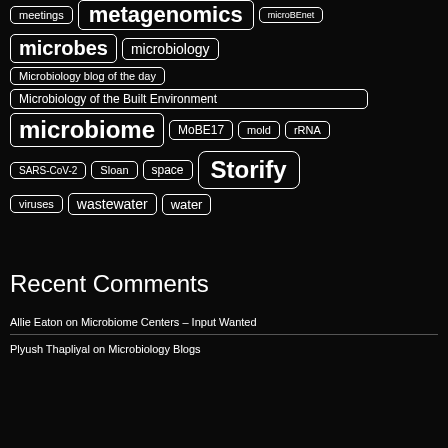microbes
microbiology
Microbiology blog of the day
Microbiology of the Built Environment
microbiome
MoBE17
mold
rRNA
SARS-CoV-2
Sloan
space
Storify
viruses
wastewater
water
Recent Comments
Allie Eaton on Microbiome Centers – Input Wanted
Plyush Thapliyal on Microbiology Blogs